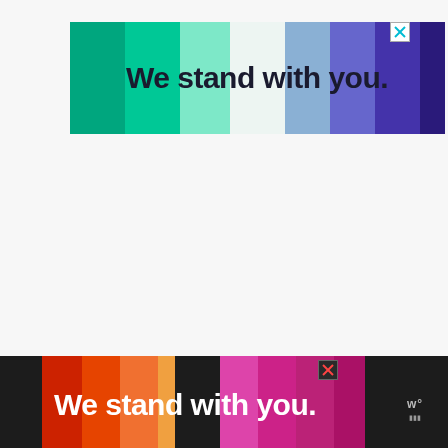[Figure (infographic): Top banner advertisement with colored swatches (greens on left, blues/purples on right) and text 'We stand with you.' on light background, with X close button]
[Figure (infographic): Bottom banner advertisement on dark background with colored swatches (reds/oranges on left, pinks/magentas on right) and text 'We stand with you.' with X close button and logo]